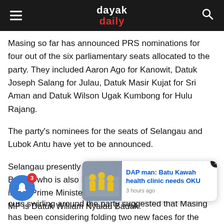dayak daily
Masing so far has announced PRS nominations for four out of the six parliamentary seats allocated to the party. They included Aaron Ago for Kanowit, Datuk Joseph Salang for Julau, Datuk Masir Kujat for Sri Aman and Datuk Wilson Ugak Kumbong for Hulu Rajang.
The party's nominees for the seats of Selangau and Lubok Antu have yet to be announced.
Selangau presently is held by Datuk Joseph Entulu Belaun who is also PRS deputy president and Minister in the Prime Minister's Department while Lubok Antu MP is Datuk William Nyalau Badak.
[Figure (screenshot): Notification popup card with headline 'DAP man: Batu Kawah health clinic needs OKU', time '3 hours ago', and a thumbnail image of people in yellow clothing. A blue bell notification button with red badge showing '3' is visible at bottom left.]
ours swirling around the party suggested that Masing has been considering folding two new faces for the